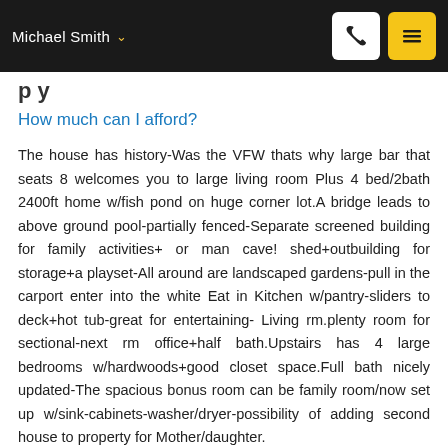Michael Smith
p y
How much can I afford?
The house has history-Was the VFW thats why large bar that seats 8 welcomes you to large living room Plus 4 bed/2bath 2400ft home w/fish pond on huge corner lot.A bridge leads to above ground pool-partially fenced-Separate screened building for family activities+ or man cave! shed+outbuilding for storage+a playset-All around are landscaped gardens-pull in the carport enter into the white Eat in Kitchen w/pantry-sliders to deck+hot tub-great for entertaining- Living rm.plenty room for sectional-next rm office+half bath.Upstairs has 4 large bedrooms w/hardwoods+good closet space.Full bath nicely updated-The spacious bonus room can be family room/now set up w/sink-cabinets-washer/dryer-possibility of adding second house to property for Mother/daughter.